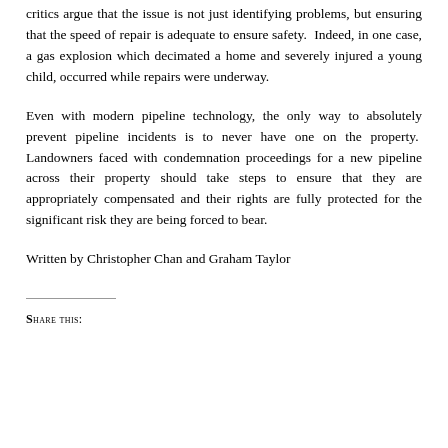critics argue that the issue is not just identifying problems, but ensuring that the speed of repair is adequate to ensure safety. Indeed, in one case, a gas explosion which decimated a home and severely injured a young child, occurred while repairs were underway.
Even with modern pipeline technology, the only way to absolutely prevent pipeline incidents is to never have one on the property. Landowners faced with condemnation proceedings for a new pipeline across their property should take steps to ensure that they are appropriately compensated and their rights are fully protected for the significant risk they are being forced to bear.
Written by Christopher Chan and Graham Taylor
Share this: